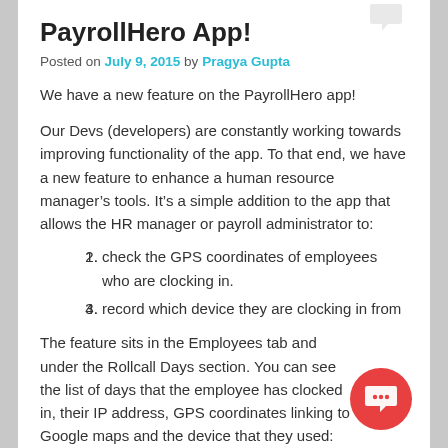PayrollHero App!
Posted on July 9, 2015 by Pragya Gupta
We have a new feature on the PayrollHero app!
Our Devs (developers) are constantly working towards improving functionality of the app. To that end, we have a new feature to enhance a human resource manager’s tools. It’s a simple addition to the app that allows the HR manager or payroll administrator to:
check the GPS coordinates of employees who are clocking in.
record which device they are clocking in from
The feature sits in the Employees tab and under the Rollcall Days section. You can see the list of days that the employee has clocked in, their IP address, GPS coordinates linking to Google maps and the device that they used: TeamClock or #MyClock. If there are any issues with clocking in with a particular device, the HR